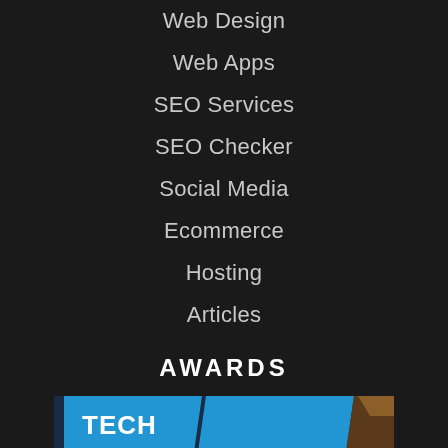Web Design
Web Apps
SEO Services
SEO Checker
Social Media
Ecommerce
Hosting
Articles
AWARDS
[Figure (logo): Tech South West Awards logo with blue ribbon banners showing 'TECH SOUTH WEST' on the left and 'AWARDS' on the right, with a medal/trophy on the far right, on a dark navy background.]